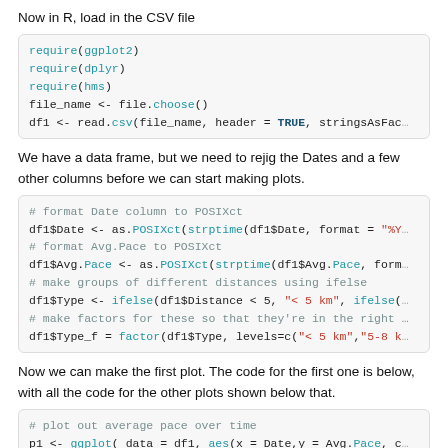Now in R, load in the CSV file
[Figure (screenshot): R code block: require(ggplot2), require(dplyr), require(hms), file_name <- file.choose(), df1 <- read.csv(file_name, header = TRUE, stringsAsFac…]
We have a data frame, but we need to rejig the Dates and a few other columns before we can start making plots.
[Figure (screenshot): R code block for formatting dates and creating groups: df1$Date <- as.POSIXct(strptime(df1$Date, format = '%Y…), df1$Avg.Pace <- as.POSIXct(strptime(df1$Avg.Pace, form…), df1$Type <- ifelse(df1$Distance < 5, '< 5 km', ifelse(…), df1$Type_f = factor(df1$Type, levels=c('< 5 km','5-8 k…]
Now we can make the first plot. The code for the first one is below, with all the code for the other plots shown below that.
[Figure (screenshot): R code block: # plot out average pace over time, p1 <- ggplot( data = df1, aes(x = Date,y = Avg.Pace, c…), geom_point() +, scale_y_datetime(date_labels = '%M:%S') +]